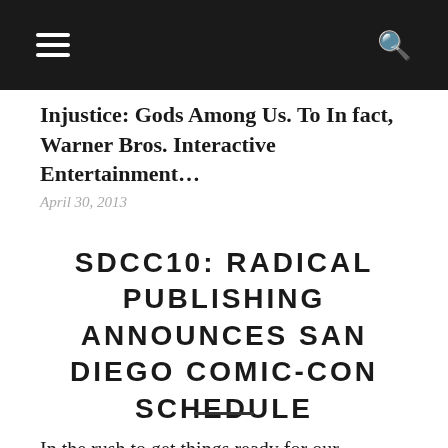[Navigation bar with hamburger menu and search icon]
Injustice: Gods Among Us. To In fact, Warner Bros. Interactive Entertainment…
April 30, 2013
SDCC10: RADICAL PUBLISHING ANNOUNCES SAN DIEGO COMIC-CON SCHEDULE
In the rush to get things ready for our coverage of Comic-Con we occasionally miss information that we